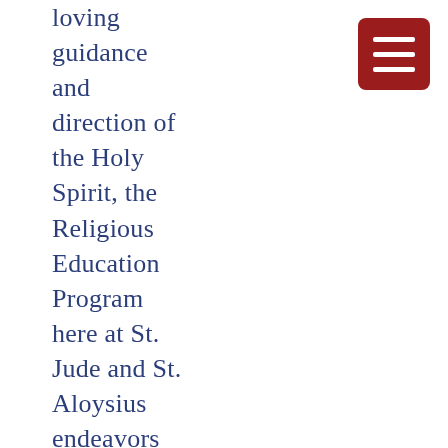loving guidance and direction of the Holy Spirit, the Religious Education Program here at St. Jude and St. Aloysius endeavors to educate the minds and hearts of the
[Figure (other): Dark red/maroon square button with three horizontal white lines (hamburger menu icon), rounded corners, positioned top right]